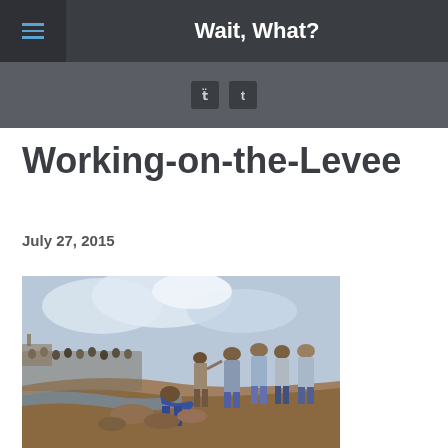Wait, What?
Working-on-the-Levee
July 27, 2015
[Figure (illustration): Historical watercolor illustration showing workers on a levee. Several men in work clothes and hats stand watching, while a figure in the foreground bends over rocks near the water's edge. A crowd and a steamboat are visible in the background.]